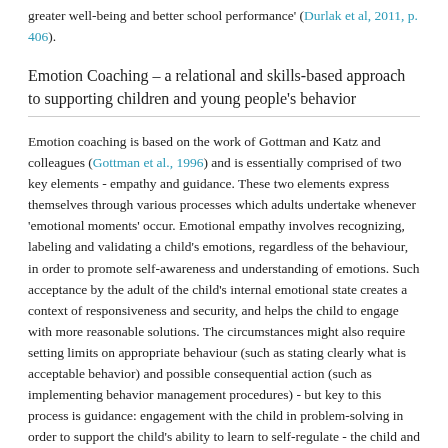greater well-being and better school performance' (Durlak et al, 2011, p. 406).
Emotion Coaching – a relational and skills-based approach to supporting children and young people's behavior
Emotion coaching is based on the work of Gottman and Katz and colleagues (Gottman et al., 1996) and is essentially comprised of two key elements - empathy and guidance. These two elements express themselves through various processes which adults undertake whenever 'emotional moments' occur. Emotional empathy involves recognizing, labeling and validating a child's emotions, regardless of the behaviour, in order to promote self-awareness and understanding of emotions. Such acceptance by the adult of the child's internal emotional state creates a context of responsiveness and security, and helps the child to engage with more reasonable solutions. The circumstances might also require setting limits on appropriate behaviour (such as stating clearly what is acceptable behavior) and possible consequential action (such as implementing behavior management procedures) - but key to this process is guidance: engagement with the child in problem-solving in order to support the child's ability to learn to self-regulate - the child and adult work together to seek alternative courses of action to help manage emotions and prevent